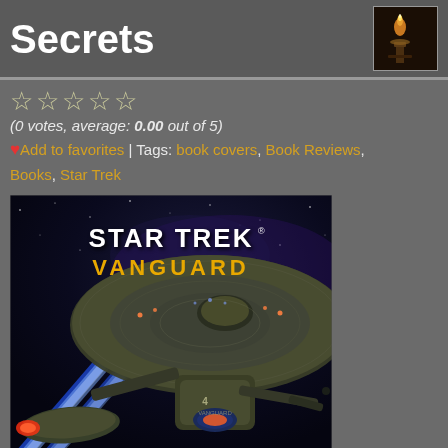Secrets
[Figure (photo): Small thumbnail image of a candlestick or decorative item in top right corner]
☆☆☆☆☆
(0 votes, average: 0.00 out of 5)
♥ Add to favorites | Tags: book covers, Book Reviews, Books, Star Trek
[Figure (photo): Star Trek Vanguard book cover showing a Federation starship from below with blue phaser beams firing, set against a starfield background. Text reads STAR TREK VANGUARD in white and yellow lettering.]